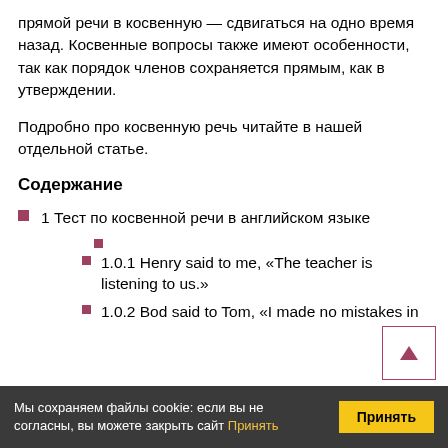прямой речи в косвенную — сдвигаться на одно время назад. Косвенные вопросы также имеют особенности, так как порядок членов сохраняется прямым, как в утверждении.
Подробно про косвенную речь читайте в нашей отдельной статье.
Содержание
1 Тест по косвенной речи в английском языке
1.0.1 Henry said to me, «The teacher is listening to us.»
1.0.2 Bod said to Tom, «I made no mistakes in
Мы сохраняем файлы cookie: если вы не согласны, вы можете закрыть сайт Принять
Принять